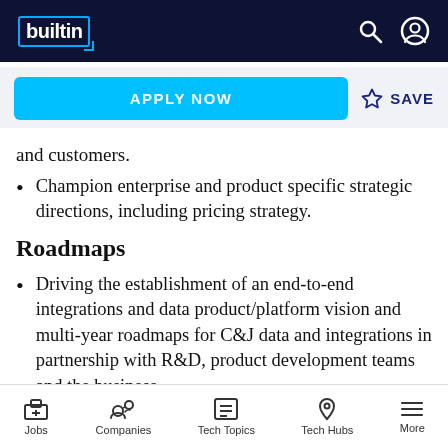builtin
APPLY NOW
SAVE
and customers.
Champion enterprise and product specific strategic directions, including pricing strategy.
Roadmaps
Driving the establishment of an end-to-end integrations and data product/platform vision and multi-year roadmaps for C&J data and integrations in partnership with R&D, product development teams and the business.
Jobs  Companies  Tech Topics  Tech Hubs  More